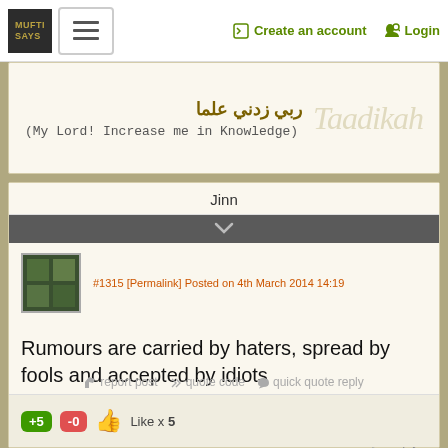MUFTI SAYS | Create an account | Login
رب زدني علما
(My Lord! Increase me in Knowledge)
Jinn
#1315 [Permalink] Posted on 4th March 2014 14:19
reply
Rumours are carried by haters, spread by fools and accepted by idiots
report post  quote code  quick quote reply
+5  -0  Like x 5